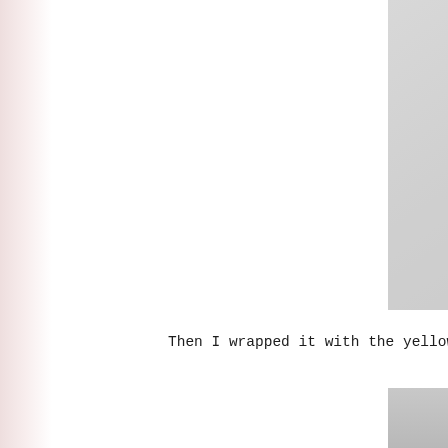[Figure (photo): Close-up photo of a dark black cylindrical object (wrapped rod or tube) on a light gray background, photographed diagonally. Watermark text 'The Partiologist' visible in white in the lower portion of the image.]
Then I wrapped it with the yellow tissue paper.
[Figure (photo): Partial photo showing a light gray/silver smooth surface, likely tissue paper or wrapped material, cropped at bottom of page.]